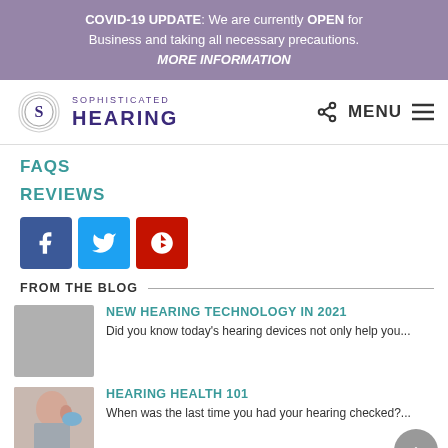COVID-19 UPDATE: We are currently OPEN for Business and taking all necessary precautions. MORE INFORMATION
[Figure (logo): Sophisticated Hearing logo with circular S and sound waves]
SOPHISTICATED HEARING
MENU
FAQS
REVIEWS
[Figure (infographic): Social media icons: Facebook (blue), Twitter (light blue), Yelp (red)]
FROM THE BLOG
[Figure (photo): Gray placeholder thumbnail image]
NEW HEARING TECHNOLOGY IN 2021
Did you know today's hearing devices not only help you...
[Figure (photo): Woman having her ear examined by a medical professional wearing blue gloves]
HEARING HEALTH 101
When was the last time you had your hearing checked?...